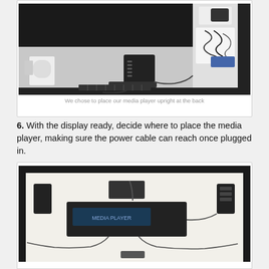[Figure (photo): Photo of the inside back of a display enclosure showing a media player placed upright, power cables, a speaker, and electronic components mounted on the back panel.]
We chose to place our media player upright at the back
6. With the display ready, decide where to place the media player, making sure the power cable can reach once plugged in.
[Figure (photo): Photo of the back of a display enclosure viewed from above, showing a media player and cabling laid flat on the back panel.]